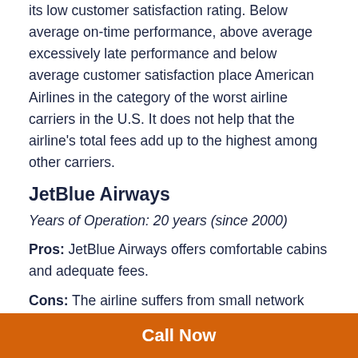its low customer satisfaction rating. Below average on-time performance, above average excessively late performance and below average customer satisfaction place American Airlines in the category of the worst airline carriers in the U.S. It does not help that the airline's total fees add up to the highest among other carriers.
JetBlue Airways
Years of Operation: 20 years (since 2000)
Pros: JetBlue Airways offers comfortable cabins and adequate fees.
Cons: The airline suffers from small network size, relatively high ticket prices and lots of headaches.
JetBlue Airways is a low-cost airline carrier in the United
Call Now